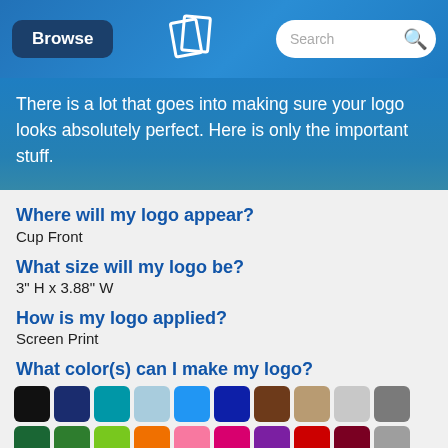Browse | [Logo] | Search
There is a lot that goes into making sure your logo looks absolutely perfect. Here is only the important stuff.
Where will my logo appear?
Cup Front
What size will my logo be?
3" H x 3.88" W
How is my logo applied?
Screen Print
What color(s) can I make my logo?
[Figure (infographic): Color swatches grid showing available logo colors including black, navy, teal, light blue, royal blue, dark blue, brown, tan, light gray, dark gray, dark green, green, lime green, orange, pink, magenta/hot pink, purple, red, dark red/maroon, medium gray, tan/khaki, white]